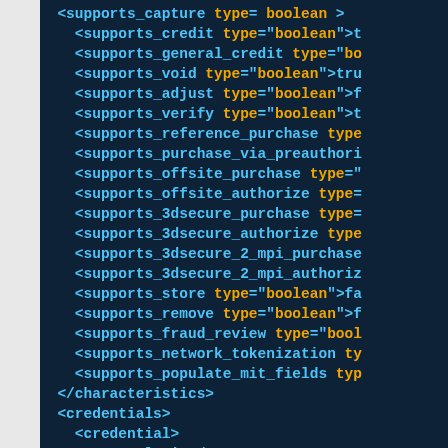[Figure (screenshot): Code editor screenshot showing XML elements for payment gateway characteristics and credentials, with syntax highlighting on a dark navy background. Tags are in cyan/blue, attribute names in orange/yellow.]